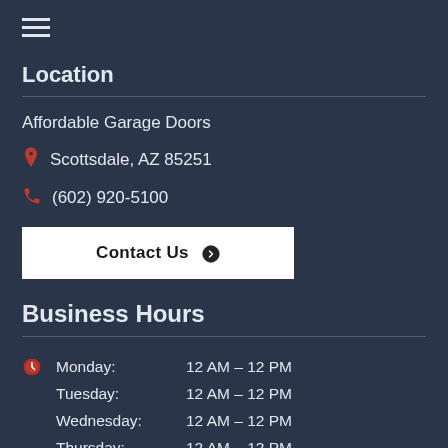Location
Affordable Garage Doors
Scottsdale, AZ 85251
(602) 920-5100
Contact Us
Business Hours
Monday: 12 AM – 12 PM
Tuesday: 12 AM – 12 PM
Wednesday: 12 AM – 12 PM
Thursday: 12 AM – 12 PM
Friday: 12 AM – 12 PM